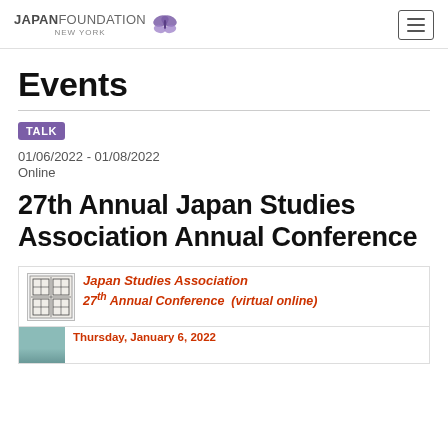JAPAN FOUNDATION NEW YORK [logo with butterfly] [hamburger menu button]
Events
TALK
01/06/2022 - 01/08/2022
Online
27th Annual Japan Studies Association Annual Conference
[Figure (other): Japan Studies Association conference flyer showing logo seal with Japanese characters, text reading 'Japan Studies Association 27th Annual Conference (virtual online)']
Thursday, January 6, 2022